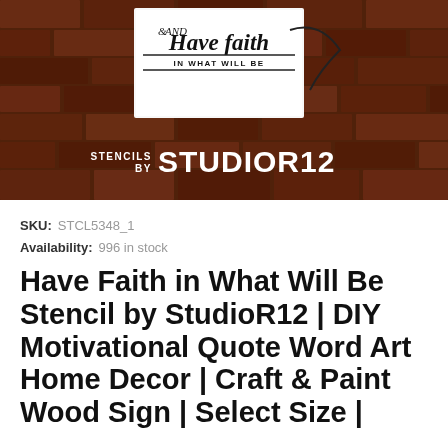[Figure (photo): Product photo showing a white stencil card with script text 'Have faith in what will be' propped against a rustic red brick wall, with 'STENCILS BY STUDIO R12' branding overlaid at the bottom of the image.]
SKU: STCL5348_1
Availability: 996 in stock
Have Faith in What Will Be Stencil by StudioR12 | DIY Motivational Quote Word Art Home Decor | Craft & Paint Wood Sign | Select Size |